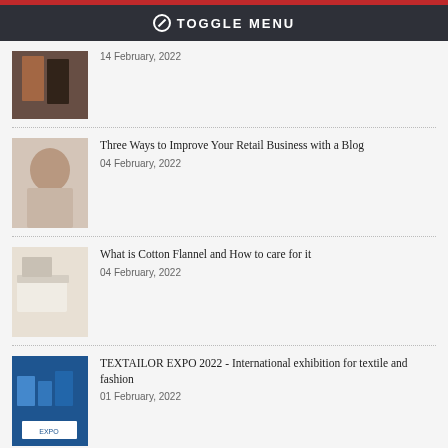TOGGLE MENU
14 February, 2022
Three Ways to Improve Your Retail Business with a Blog
04 February, 2022
What is Cotton Flannel and How to care for it
04 February, 2022
TEXTAILOR EXPO 2022 - International exhibition for textile and fashion
01 February, 2022
An interview with...